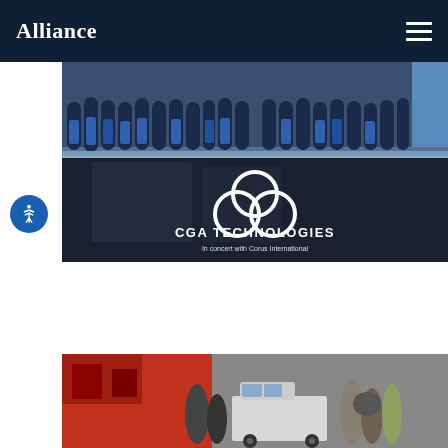Alliance
[Figure (photo): Photograph of schoolgirls in blue uniforms standing on a balcony, with a CGA Technologies logo overlay (three interlocking circles) and text 'CGA TECHNOLOGIES — In concert with Corus International']
[Figure (photo): Street scene photograph showing a white van, people on a busy urban street with red building in background]